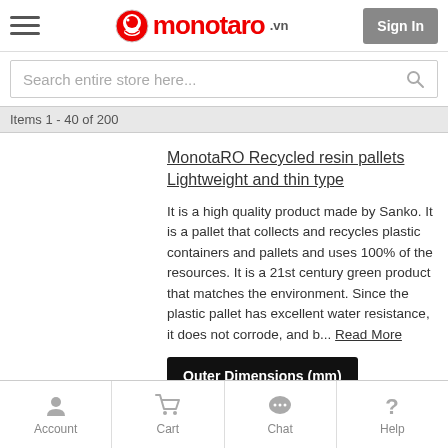monotaro.vn — Sign In
Search entire store here...
Items 1 - 40 of 200
MonotaRO Recycled resin pallets Lightweight and thin type
It is a high quality product made by Sanko. It is a pallet that collects and recycles plastic containers and pallets and uses 100% of the resources. It is a 21st century green product that matches the environment. Since the plastic pallet has excellent water resistance, it does not corrode, and b... Read More
Outer Dimensions (mm)
Account  Cart  Chat  Help